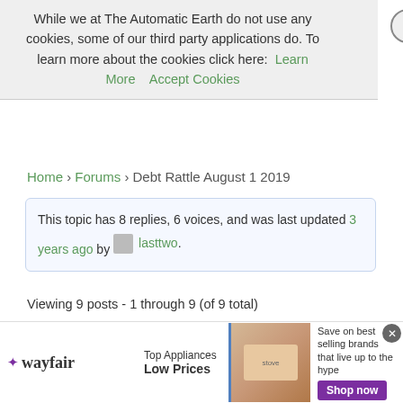While we at The Automatic Earth do not use any cookies, some of our third party applications do. To learn more about the cookies click here: Learn More   Accept Cookies
Home › Forums › Debt Rattle August 1 2019
This topic has 8 replies, 6 voices, and was last updated 3 years ago by lasttwo.
Viewing 9 posts - 1 through 9 (of 9 total)
| Author | Posts |
| --- | --- |
| August 1, 2019 at 9:35 am | #48918 |
[Figure (screenshot): Wayfair advertisement banner: Top Appliances Low Prices, Save on best selling brands that live up to the hype, Shop now button]